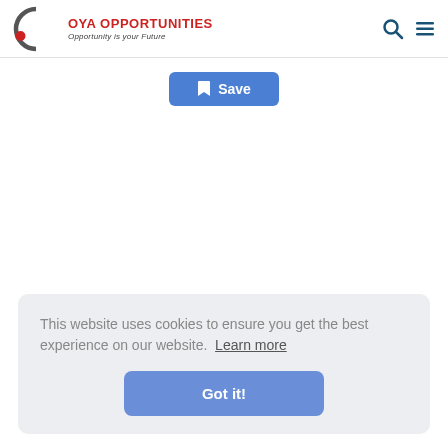[Figure (logo): Oya Opportunities logo: circular O with red dot, red and dark text 'OYA OPPORTUNITIES', italic tagline 'Opportunity is your Future']
[Figure (screenshot): Blue Save button with bookmark icon]
This website uses cookies to ensure you get the best experience on our website.  Learn more
Got it!